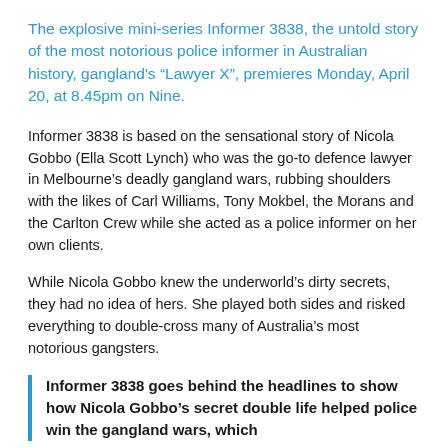The explosive mini-series Informer 3838, the untold story of the most notorious police informer in Australian history, gangland’s “Lawyer X”, premieres Monday, April 20, at 8.45pm on Nine.
Informer 3838 is based on the sensational story of Nicola Gobbo (Ella Scott Lynch) who was the go-to defence lawyer in Melbourne’s deadly gangland wars, rubbing shoulders with the likes of Carl Williams, Tony Mokbel, the Morans and the Carlton Crew while she acted as a police informer on her own clients.
While Nicola Gobbo knew the underworld’s dirty secrets, they had no idea of hers. She played both sides and risked everything to double-cross many of Australia’s most notorious gangsters.
Informer 3838 goes behind the headlines to show how Nicola Gobbo’s secret double life helped police win the gangland wars, which